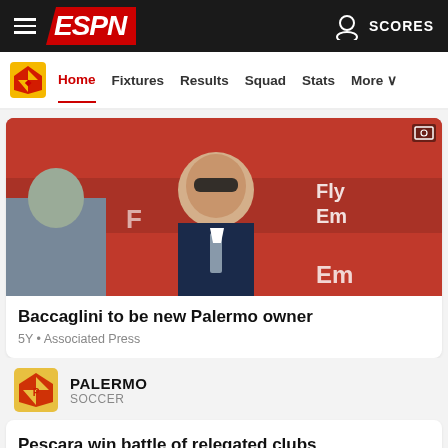ESPN — SCORES
Home · Fixtures · Results · Squad · Stats · More
[Figure (photo): Man in dark suit and sunglasses seated in stadium with red Emirates-branded seats in background]
Baccaglini to be new Palermo owner
5Y • Associated Press
PALERMO — SOCCER
Pescara win battle of relegated clubs
5Y • PA Sport